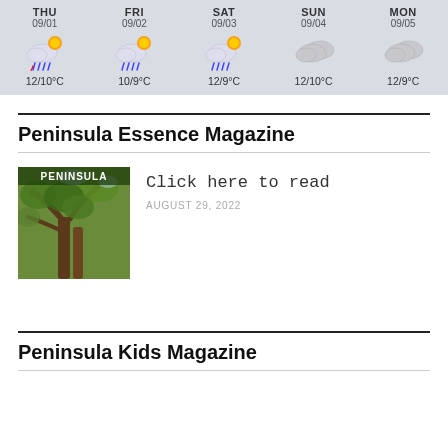[Figure (infographic): 5-day weather forecast widget showing THU 09/01 to MON 09/05 with weather icons and temperatures. THU 09/01: rain/sun icon, 12/10°C. FRI 09/02: rain/sun icon, 10/9°C. SAT 09/03: rain/sun icon, 12/9°C. SUN 09/04: cloudy icon, 12/10°C. MON 09/05: cloudy icon, 12/9°C.]
Peninsula Essence Magazine
[Figure (photo): Cover of Peninsula magazine showing tree branches and foliage, with PENINSULA text at top]
Click here to read
AUGUST 29, 2022
Peninsula Kids Magazine